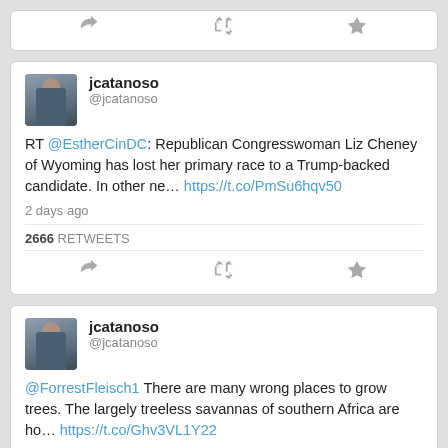[Figure (screenshot): Partial tweet card showing action icons (reply, retweet, favorite)]
jcatanoso @jcatanoso
RT @EstherCinDC: Republican Congresswoman Liz Cheney of Wyoming has lost her primary race to a Trump-backed candidate. In other ne… https://t.co/PmSu6hqv50
2 days ago
2666 RETWEETS
jcatanoso @jcatanoso
@ForrestFleisch1 There are many wrong places to grow trees. The largely treeless savannas of southern Africa are ho… https://t.co/Ghv3VL1Y22
2 days ago